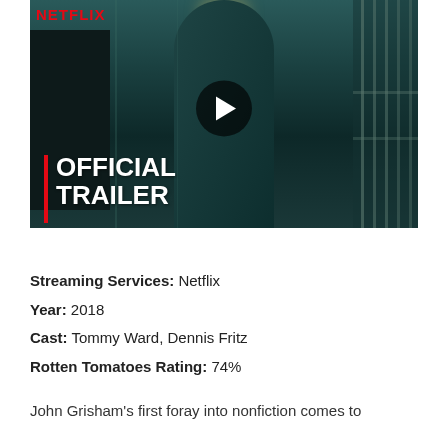[Figure (screenshot): Netflix Official Trailer thumbnail showing a prison corridor scene with a figure walking away, play button overlay, Netflix logo, and 'OFFICIAL TRAILER' text with red vertical bar accent]
Streaming Services: Netflix
Year: 2018
Cast: Tommy Ward, Dennis Fritz
Rotten Tomatoes Rating: 74%
John Grisham’s first foray into nonfiction comes to